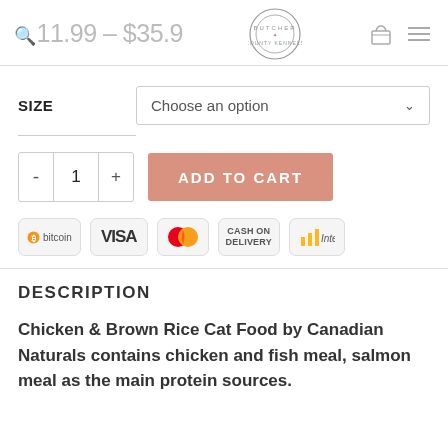🔍11.99 – $35.9  [logo] [basket] [menu]
SIZE   Choose an option
- 1 +   ADD TO CART
[Figure (logo): Payment method icons: Bitcoin, VISA, MasterCard, Cash on Delivery, Interac]
DESCRIPTION
Chicken & Brown Rice Cat Food by Canadian Naturals contains chicken and fish meal, salmon meal as the main protein sources.